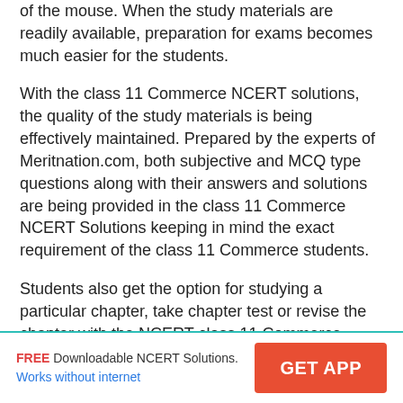of the mouse. When the study materials are readily available, preparation for exams becomes much easier for the students.
With the class 11 Commerce NCERT solutions, the quality of the study materials is being effectively maintained. Prepared by the experts of Meritnation.com, both subjective and MCQ type questions along with their answers and solutions are being provided in the class 11 Commerce NCERT Solutions keeping in mind the exact requirement of the class 11 Commerce students.
Students also get the option for studying a particular chapter, take chapter test or revise the chapter with the NCERT class 11 Commerce solutions. This helps them in comprehensively covering all topics and also find out topics they are weak in and needs extra attention.
FREE Downloadable NCERT Solutions. Works without internet | GET APP